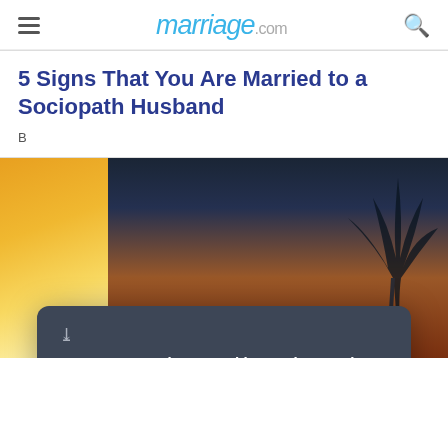marriage.com
5 Signs That You Are Married to a Sociopath Husband
B
[Figure (screenshot): Newsletter signup modal overlay with dark background, options 'Yes [enter your email]' and 'No, thanks', ProProfs Qualaroo branding, and a SEND button]
[Figure (photo): Sunset photo on left (orange/yellow sky) and tropical sunset with palm tree silhouettes on right]